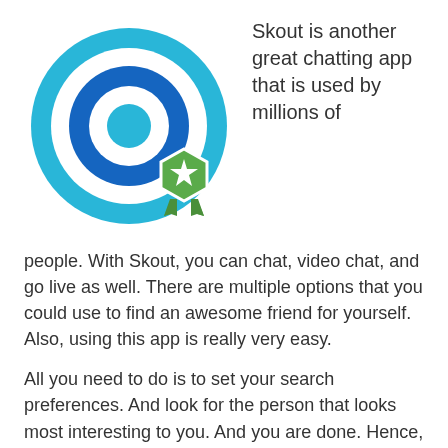[Figure (logo): Skout app logo: concentric circles in light blue, white, dark blue, white, and a small light blue center circle, with a green hexagonal badge with a white star and green ribbon below]
Skout is another great chatting app that is used by millions of people. With Skout, you can chat, video chat, and go live as well. There are multiple options that you could use to find an awesome friend for yourself. Also, using this app is really very easy.
All you need to do is to set your search preferences. And look for the person that looks most interesting to you. And you are done. Hence, you can instantly